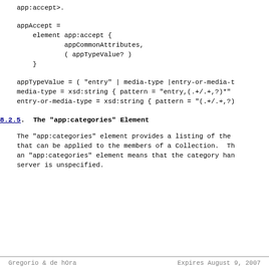app:accept>.
8.2.5.  The "app:categories" Element
The "app:categories" element provides a listing of the that can be applied to the members of a Collection.  Th an "app:categories" element means that the category han server is unspecified.
Gregorio & de hOra          Expires August 9, 2007